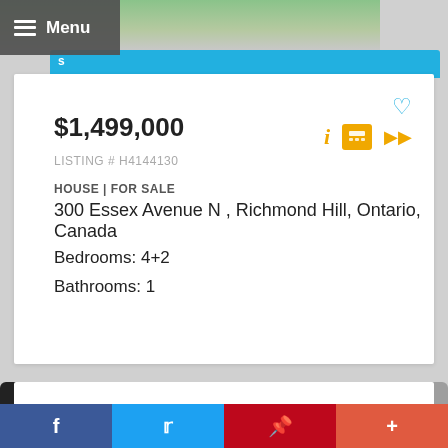Menu
$1,499,000
LISTING # H4144130
HOUSE | FOR SALE
300 Essex Avenue N , Richmond Hill, Ontario, Canada
Bedrooms: 4+2
Bathrooms: 1
1 2 3 4 5 6 7 8 9 10 ›